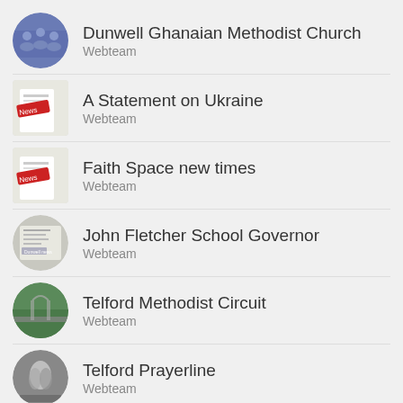Dunwell Ghanaian Methodist Church
Webteam
A Statement on Ukraine
Webteam
Faith Space new times
Webteam
John Fletcher School Governor
Webteam
Telford Methodist Circuit
Webteam
Telford Prayerline
Webteam
Publications
Plan Mar - May 22 v2
PDF file
Christmas Service Telford
PDF file